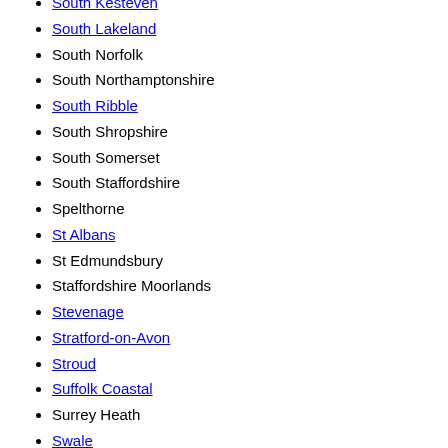South Kesteven
South Lakeland
South Norfolk
South Northamptonshire
South Ribble
South Shropshire
South Somerset
South Staffordshire
Spelthorne
St Albans
St Edmundsbury
Staffordshire Moorlands
Stevenage
Stratford-on-Avon
Stroud
Suffolk Coastal
Surrey Heath
Swale
Tamworth
Tandridge
Taunton Deane
Teesdale
Teignbridge
Tendring
Test Valley
Tewkesbury